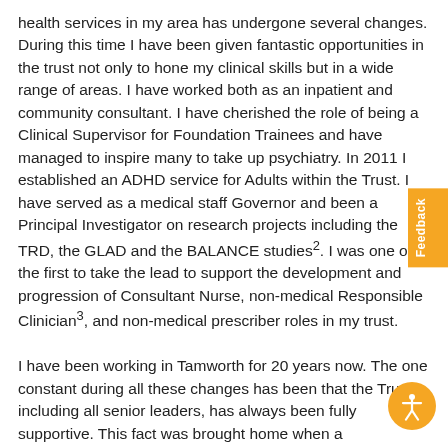health services in my area has undergone several changes. During this time I have been given fantastic opportunities in the trust not only to hone my clinical skills but in a wide range of areas. I have worked both as an inpatient and community consultant. I have cherished the role of being a Clinical Supervisor for Foundation Trainees and have managed to inspire many to take up psychiatry. In 2011 I established an ADHD service for Adults within the Trust. I have served as a medical staff Governor and been a Principal Investigator on research projects including the TRD, the GLAD and the BALANCE studies². I was one of the first to take the lead to support the development and progression of Consultant Nurse, non-medical Responsible Clinician³, and non-medical prescriber roles in my trust.
I have been working in Tamworth for 20 years now. The one constant during all these changes has been that the Trust, including all senior leaders, has always been fully supportive. This fact was brought home when a